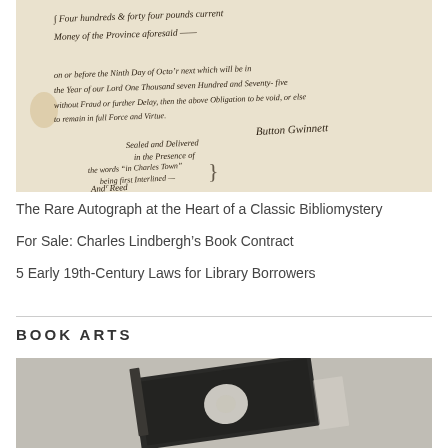[Figure (photo): A scanned handwritten historical document showing cursive script including text about 'Four hundred and forty four pounds current Money of the Province aforesaid', signed 'Button Gwinnett' with witnessing by 'And Reed', referencing 'Sealed and Delivered in the Presence of']
The Rare Autograph at the Heart of a Classic Bibliomystery
For Sale: Charles Lindbergh’s Book Contract
5 Early 19th-Century Laws for Library Borrowers
BOOK ARTS
[Figure (photo): A black and white photograph of an open book viewed from an angle, showing the spine and pages with a decorative or illustrated cover]